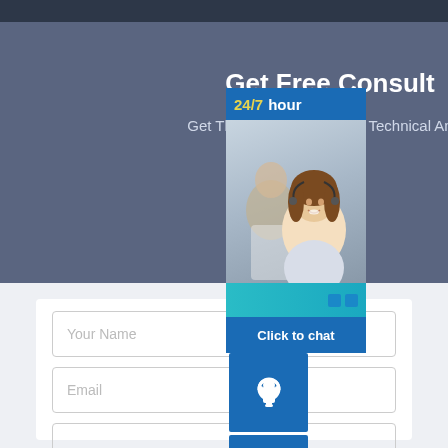Get Free Consult
Get The Most Professional Technical An... Solutions
[Figure (screenshot): Chat widget overlay showing a 24/7 customer support panel with a photo of customer service representatives, three blue icon buttons (headset, phone, Skype), teal dots, and a 'Click to chat' button at the bottom.]
Your Name
Email